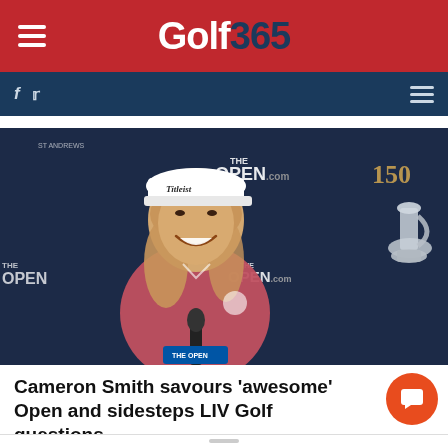Golf365
[Figure (photo): Cameron Smith smiling at a press conference at The Open Championship 150th edition, wearing a Titleist cap and pink polo shirt, with the Claret Jug trophy visible on the right. THE OPEN.com backdrop behind him.]
Cameron Smith savours 'awesome' Open and sidesteps LIV Golf questions